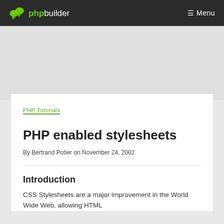phpbuilder  ≡ Menu
PHP Tutorials
PHP enabled stylesheets
By Bertrand Potier on November 24, 2002
Introduction
CSS Stylesheets are a major improvement in the World Wide Web, allowing HTML